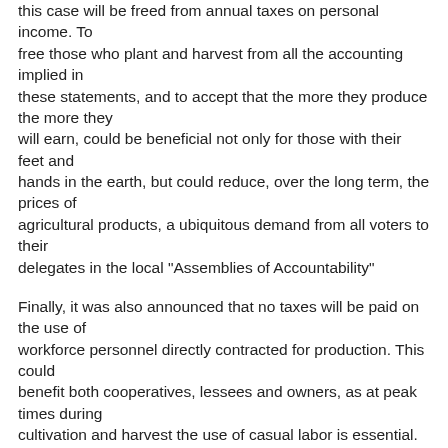this case will be freed from annual taxes on personal income. To free those who plant and harvest from all the accounting implied in these statements, and to accept that the more they produce the more they will earn, could be beneficial not only for those with their feet and hands in the earth, but could reduce, over the long term, the prices of agricultural products, a ubiquitous demand from all voters to their delegates in the local "Assemblies of Accountability"

Finally, it was also announced that no taxes will be paid on the use of workforce personnel directly contracted for production. This could benefit both cooperatives, lessees and owners, as at peak times during cultivation and harvest the use of casual labor is essential. The exodus from agricultural areas, especially of young people, is due